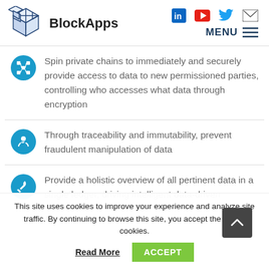BlockApps — navigation header with logo, social icons (LinkedIn, YouTube, Twitter, Email), and MENU
Spin private chains to immediately and securely provide access to data to new permissioned parties, controlling who accesses what data through encryption
Through traceability and immutability, prevent fraudulent manipulation of data
Provide a holistic overview of all pertinent data in a single ledger, driving intelligent data-driven
This site uses cookies to improve your experience and analyze site traffic. By continuing to browse this site, you accept the use of cookies.
Read More  ACCEPT